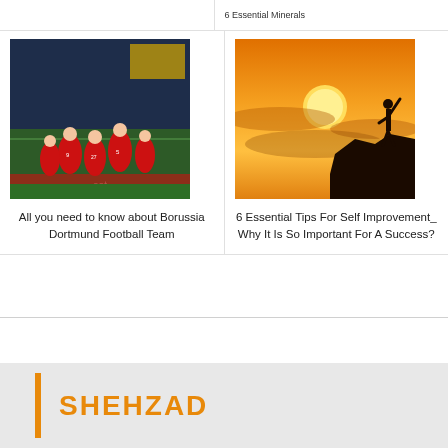[Figure (photo): Bayern Munich football players in red jerseys celebrating on pitch]
All you need to know about Borussia Dortmund Football Team
[Figure (photo): Silhouette of person standing on cliff edge with arms raised against orange sunset sky]
6 Essential Tips For Self Improvement_ Why It Is So Important For A Success?
SHEHZAD